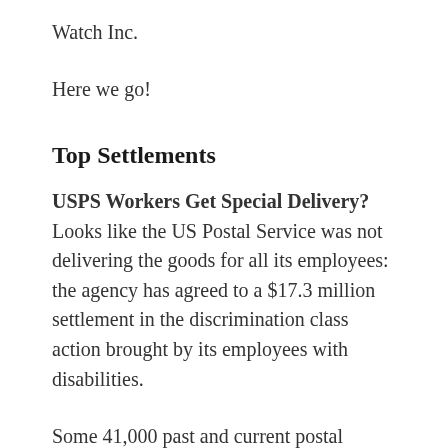Watch Inc.
Here we go!
Top Settlements
USPS Workers Get Special Delivery? Looks like the US Postal Service was not delivering the goods for all its employees: the agency has agreed to a $17.3 million settlement in the discrimination class action brought by its employees with disabilities.
Some 41,000 past and current postal service employees are involved in the discrimination class action, which details complaints over